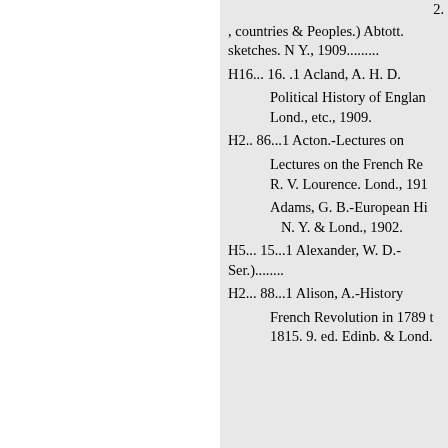2.
, countries & Peoples.) Abtott. sketches. N Y., 1909.........
H16... 16. .1 Acland, A. H. D.
Political History of England. Lond., etc., 1909.
H2.. 86...1 Acton.-Lectures on
Lectures on the French Re. R. V. Lourence. Lond., 1910
Adams, G. B.-European His. N. Y. & Lond., 1902.
H5... 15...1 Alexander, W. D.- Ser.)........
H2... 88...1 Alison, A.-History
French Revolution in 1789 to 1815. 9. ed. Edinb. & Lond.